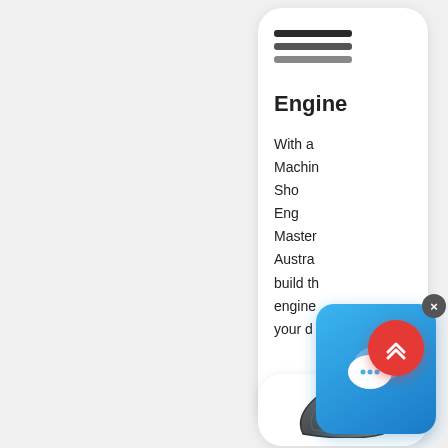[Figure (screenshot): Menu icon with three horizontal bars (hamburger/lines icon)]
Engine
With a Machin Shop Eng Master Austra build th engine your d
[Figure (screenshot): Chat support widget overlay with speech bubble icon and close button]
[Figure (other): Scroll-to-top button (red circular button with double up chevron)]
[Figure (photo): Engineering engine part component - a dark grey triangular/trapezoidal rubber or belt part]